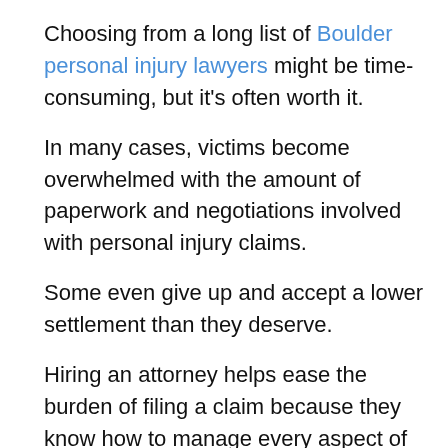Choosing from a long list of Boulder personal injury lawyers might be time-consuming, but it's often worth it.
In many cases, victims become overwhelmed with the amount of paperwork and negotiations involved with personal injury claims.
Some even give up and accept a lower settlement than they deserve.
Hiring an attorney helps ease the burden of filing a claim because they know how to manage every aspect of it.
They can help: